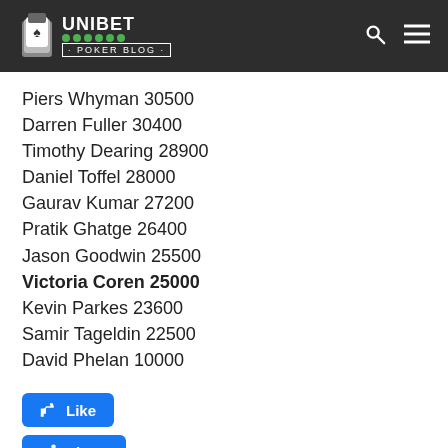Unibet Poker Blog
Piers Whyman 30500
Darren Fuller 30400
Timothy Dearing 28900
Daniel Toffel 28000
Gaurav Kumar 27200
Pratik Ghatge 26400
Jason Goodwin 25500
Victoria Coren 25000
Kevin Parkes 23600
Samir Tageldin 22500
David Phelan 10000